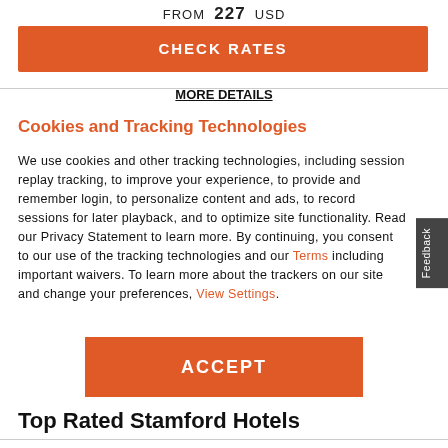FROM 227 USD
CHECK RATES
MORE DETAILS
Cookies and Tracking Technologies
We use cookies and other tracking technologies, including session replay tracking, to improve your experience, to provide and remember login, to personalize content and ads, to record sessions for later playback, and to optimize site functionality. Read our Privacy Statement to learn more. By continuing, you consent to our use of the tracking technologies and our Terms including important waivers. To learn more about the trackers on our site and change your preferences, View Settings.
ACCEPT
Top Rated Stamford Hotels